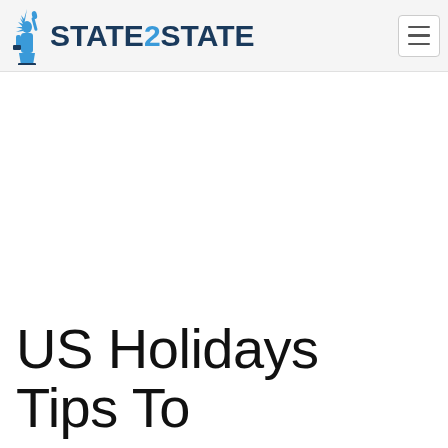STATE2STATE
US Holidays Tips To